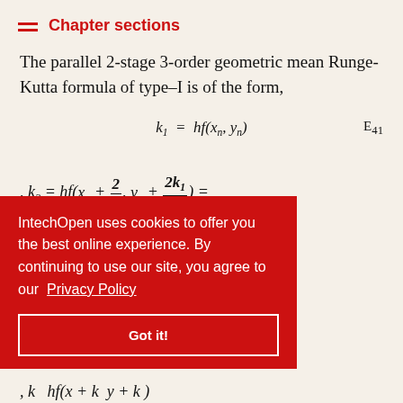Chapter sections
The parallel 2-stage 3-order geometric mean Runge-Kutta formula of type–I is of the form,
IntechOpen uses cookies to offer you the best online experience. By continuing to use our site, you agree to our Privacy Policy
Got it!